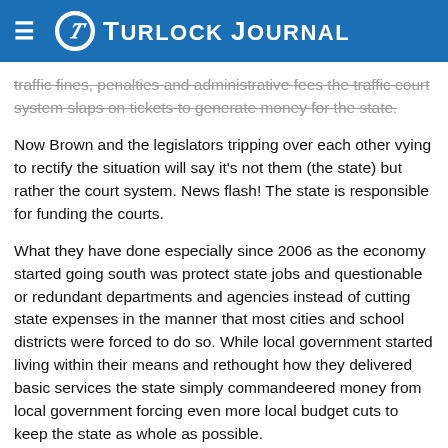Turlock Journal
traffic fines, penalties and administrative fees the traffic court system slaps on tickets to generate money for the state.
Now Brown and the legislators tripping over each other vying to rectify the situation will say it's not them (the state) but rather the court system. News flash! The state is responsible for funding the courts.
What they have done especially since 2006 as the economy started going south was protect state jobs and questionable or redundant departments and agencies instead of cutting state expenses in the manner that most cities and school districts were forced to do so. While local government started living within their means and rethought how they delivered basic services the state simply commandeered money from local government forcing even more local budget cuts to keep the state as whole as possible.
Part of the point was meant to be on the court system...